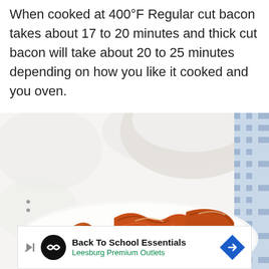When cooked at 400°F Regular cut bacon takes about 17 to 20 minutes and thick cut bacon will take about 20 to 25 minutes depending on how you like it cooked and you oven.
[Figure (photo): Photo of cooked bacon strips on a white plate, with a white marble surface background and a blue and white checkered cloth/napkin on the right side]
Back To School Essentials
Leesburg Premium Outlets